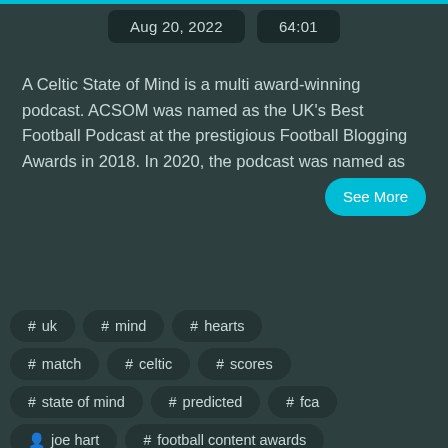Aug 20, 2022   64:01
A Celtic State of Mind is a multi award-winning podcast. ACSOM was named as the UK's Best Football Podcast at the prestigious Football Blogging Awards in 2018. In 2020, the podcast was named as See More
# uk
# mind
# hearts
# match
# celtic
# scores
# state of mind
# predicted
# fca
joe hart
# football content awards
# celtic state
# awardwinningpodcast